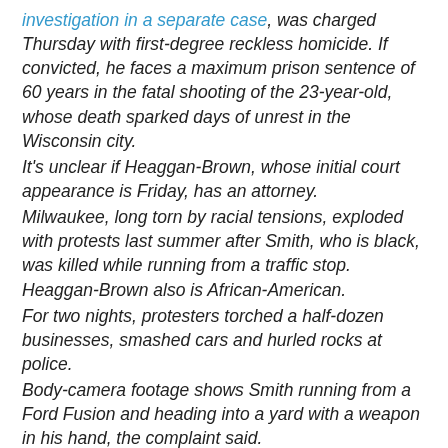investigation in a separate case, was charged Thursday with first-degree reckless homicide. If convicted, he faces a maximum prison sentence of 60 years in the fatal shooting of the 23-year-old, whose death sparked days of unrest in the Wisconsin city. It's unclear if Heaggan-Brown, whose initial court appearance is Friday, has an attorney. Milwaukee, long torn by racial tensions, exploded with protests last summer after Smith, who is black, was killed while running from a traffic stop. Heaggan-Brown also is African-American. For two nights, protesters torched a half-dozen businesses, smashed cars and hurled rocks at police. Body-camera footage shows Smith running from a Ford Fusion and heading into a yard with a weapon in his hand, the complaint said.